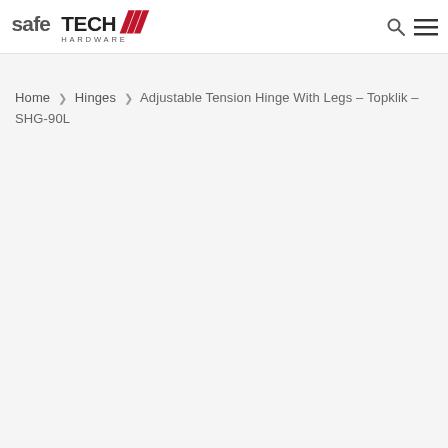SafeTech Hardware
Home ❯ Hinges ❯ Adjustable Tension Hinge With Legs – Topklik – SHG-90L